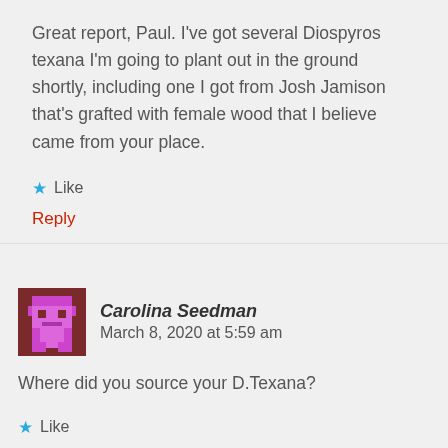Great report, Paul. I've got several Diospyros texana I'm going to plant out in the ground shortly, including one I got from Josh Jamison that's grafted with female wood that I believe came from your place.
Like
Reply
Carolina Seedman   March 8, 2020 at 5:59 am
Where did you source your D.Texana?
Like
Reply